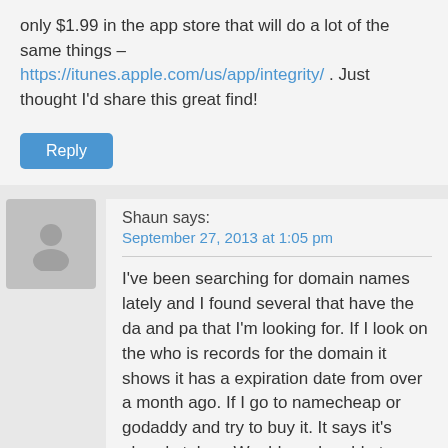only $1.99 in the app store that will do a lot of the same things – https://itunes.apple.com/us/app/integrity/ . Just thought I'd share this great find!
Reply
Shaun says:
September 27, 2013 at 1:05 pm
I've been searching for domain names lately and I found several that have the da and pa that I'm looking for. If I look on the who is records for the domain it shows it has a expiration date from over a month ago. If I go to namecheap or godaddy and try to buy it. It says it's already taken. Would you be able to